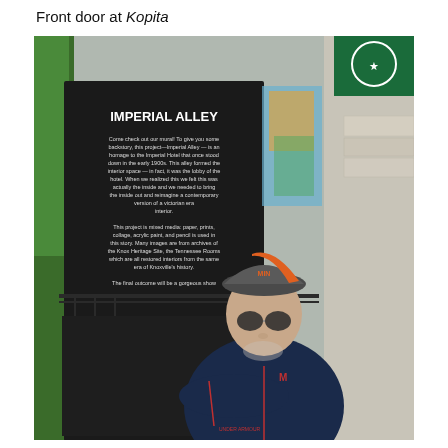Front door at Kopita
[Figure (photo): A middle-aged man wearing a dark navy Under Armour zip-up jacket, sunglasses, and a gray and orange baseball cap with 'MIN' lettering, standing with arms crossed in front of a large black banner reading 'IMPERIAL ALLEY' with descriptive text below it. A Starbucks sign is visible in the upper right. The setting appears to be an urban outdoor area with greenery and iron railings.]